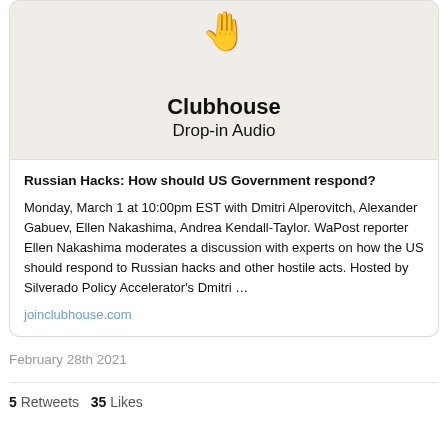[Figure (screenshot): Clubhouse app preview card showing emoji hand and text 'Clubhouse Drop-in Audio' on a beige background]
Russian Hacks: How should US Government respond?
Monday, March 1 at 10:00pm EST with Dmitri Alperovitch, Alexander Gabuev, Ellen Nakashima, Andrea Kendall-Taylor. WaPost reporter Ellen Nakashima moderates a discussion with experts on how the US should respond to Russian hacks and other hostile acts. Hosted by Silverado Policy Accelerator's Dmitri …
joinclubhouse.com
February 28th 2021
5 Retweets  35 Likes